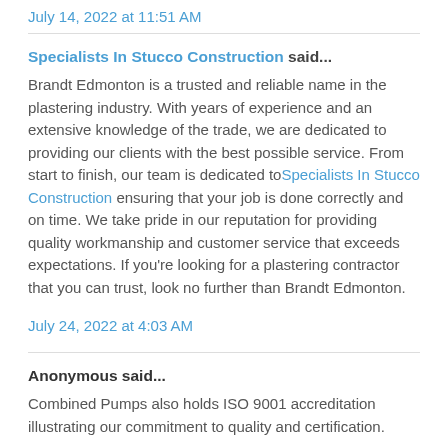July 14, 2022 at 11:51 AM
Specialists In Stucco Construction said...
Brandt Edmonton is a trusted and reliable name in the plastering industry. With years of experience and an extensive knowledge of the trade, we are dedicated to providing our clients with the best possible service. From start to finish, our team is dedicated to Specialists In Stucco Construction ensuring that your job is done correctly and on time. We take pride in our reputation for providing quality workmanship and customer service that exceeds expectations. If you're looking for a plastering contractor that you can trust, look no further than Brandt Edmonton.
July 24, 2022 at 4:03 AM
Anonymous said...
Combined Pumps also holds ISO 9001 accreditation illustrating our commitment to quality and certification.